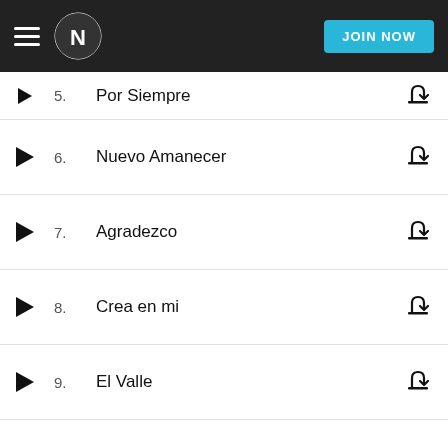Napster — JOIN NOW
5. Por Siempre
6. Nuevo Amanecer
7. Agradezco
8. Crea en mi
9. El Valle